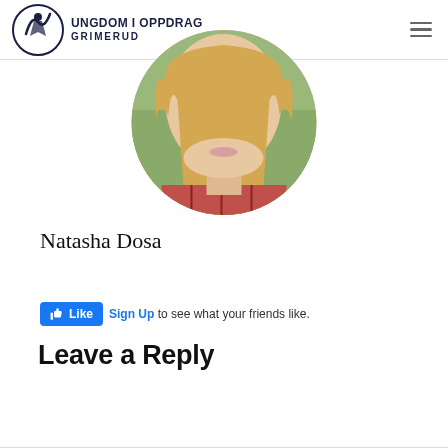UNGDOM I OPPDRAG GRIMERUD
[Figure (photo): Circular profile photo of a young woman with long blonde hair wearing a plaid shirt, cropped to show neck/lower face area, with a blurred green outdoor background.]
Natasha Dosa
[Figure (screenshot): Facebook Like button widget with thumbs-up icon, 'Like' text in blue button, followed by 'Sign Up to see what your friends like.' text.]
Leave a Reply